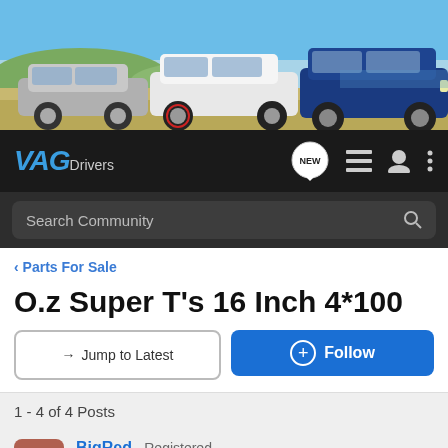[Figure (photo): Banner image showing three cars (silver VW Golf, white VW Golf GTI, blue Audi Q5) parked on a beach/coastal scene with blue sky and hills in background]
VAG Drivers — navigation bar with NEW badge, list icon, user icon, and menu icon
Search Community
< Parts For Sale
O.z Super T's 16 Inch 4*100
→ Jump to Latest
+ Follow
1 - 4 of 4 Posts
BigRed · Registered
Joined Dec 20, 2005 · 429 Posts